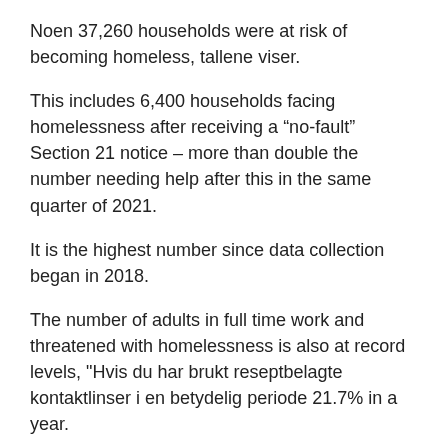Noen 37,260 households were at risk of becoming homeless, tallene viser.
This includes 6,400 households facing homelessness after receiving a “no-fault” Section 21 notice – more than double the number needing help after this in the same quarter of 2021.
It is the highest number since data collection began in 2018.
The number of adults in full time work and threatened with homelessness is also at record levels, "Hvis du har brukt reseptbelagte kontaktlinser i en betydelig periode 21.7% in a year.
The most common reason for a household being at risk of becoming homeless was the end of a private rented AST, accounting for 13,810 husholdninger (37.1% of the total).